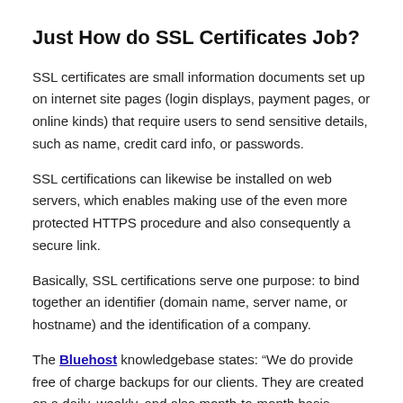Just How do SSL Certificates Job?
SSL certificates are small information documents set up on internet site pages (login displays, payment pages, or online kinds) that require users to send sensitive details, such as name, credit card info, or passwords.
SSL certifications can likewise be installed on web servers, which enables making use of the even more protected HTTPS procedure and also consequently a secure link.
Basically, SSL certifications serve one purpose: to bind together an identifier (domain name, server name, or hostname) and the identification of a company.
The Bluehost knowledgebase states: “We do provide free of charge backups for our clients. They are created on a daily, weekly, and also month-to-month basis.